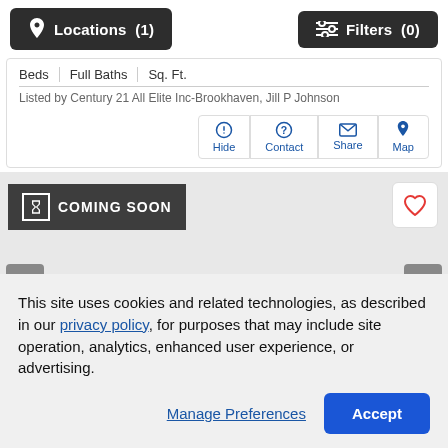[Figure (screenshot): Top navigation bar with Locations (1) and Filters (0) buttons]
Beds | Full Baths | Sq. Ft.
Listed by Century 21 All Elite Inc-Brookhaven, Jill P Johnson
Hide | Contact | Share | Map
[Figure (screenshot): Coming Soon listing card with hourglass badge, heart button, and navigation arrows]
This site uses cookies and related technologies, as described in our privacy policy, for purposes that may include site operation, analytics, enhanced user experience, or advertising.
Manage Preferences  Accept